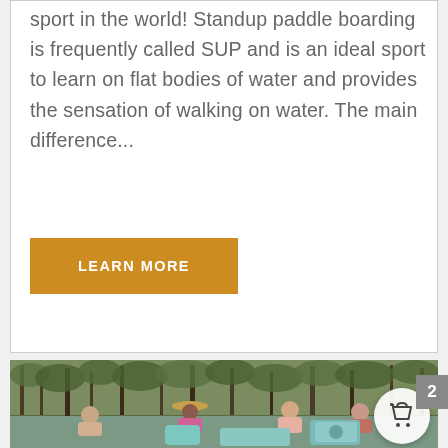sport in the world! Standup paddle boarding is frequently called SUP and is an ideal sport to learn on flat bodies of water and provides the sensation of walking on water. The main difference...
LEARN MORE
[Figure (photo): Group of people relaxing on paddle boards or inflatable seats on a river surrounded by trees. A shopping cart button overlay is visible in the bottom right.]
2